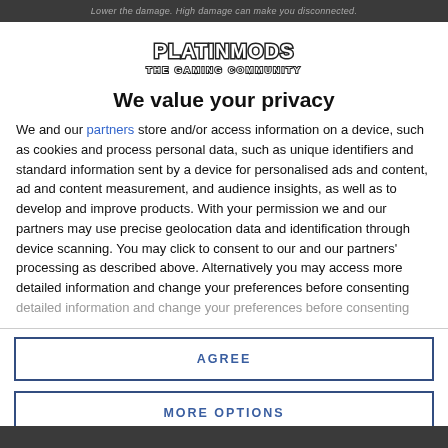Lower the damage. High damage can make you disconnected.
[Figure (logo): PLATINMODS THE GAMING COMMUNITY logo in bold outlined font]
We value your privacy
We and our partners store and/or access information on a device, such as cookies and process personal data, such as unique identifiers and standard information sent by a device for personalised ads and content, ad and content measurement, and audience insights, as well as to develop and improve products. With your permission we and our partners may use precise geolocation data and identification through device scanning. You may click to consent to our and our partners' processing as described above. Alternatively you may access more detailed information and change your preferences before consenting
AGREE
MORE OPTIONS